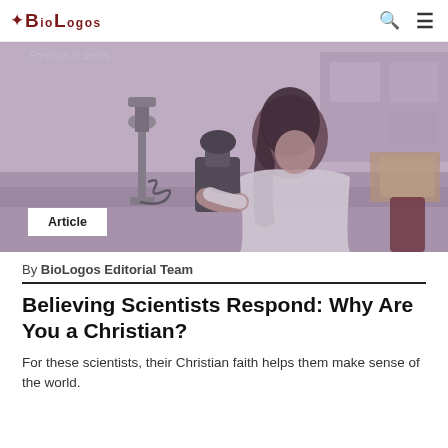BioLogos
[Figure (photo): A woman in a white lab coat using a microscope in a laboratory setting, with lab equipment visible in the background. The image has a purple/mauve color overlay.]
Article
By BioLogos Editorial Team
Believing Scientists Respond: Why Are You a Christian?
For these scientists, their Christian faith helps them make sense of the world.